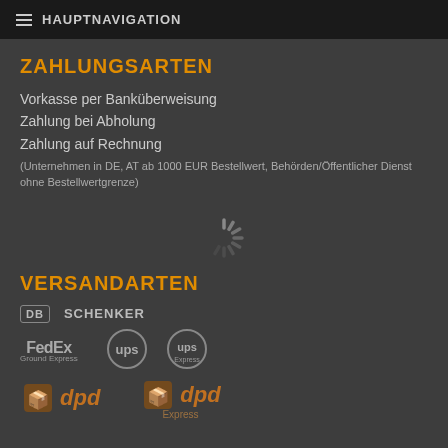HAUPTNAVIGATION
ZAHLUNGSARTEN
Vorkasse per Banküberweisung
Zahlung bei Abholung
Zahlung auf Rechnung
(Unternehmen in DE, AT ab 1000 EUR Bestellwert, Behörden/Öffentlicher Dienst ohne Bestellwertgrenze)
[Figure (other): Loading spinner icon]
VERSANDARTEN
[Figure (logo): DB Schenker logo]
[Figure (logo): FedEx Ground Express, UPS, UPS Express logos]
[Figure (logo): DPD and DPD Express logos]